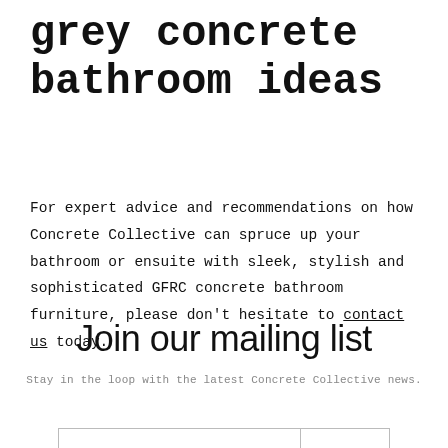grey concrete bathroom ideas
For expert advice and recommendations on how Concrete Collective can spruce up your bathroom or ensuite with sleek, stylish and sophisticated GFRC concrete bathroom furniture, please don't hesitate to contact us today.
Join our mailing list
Stay in the loop with the latest Concrete Collective news.